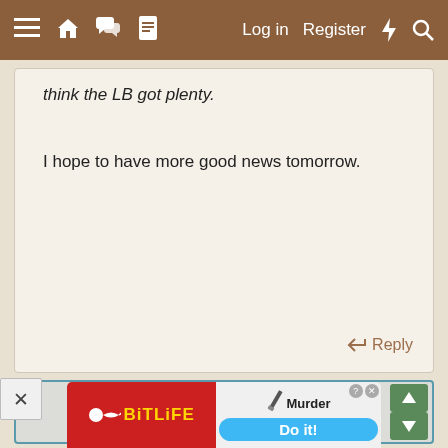≡  🏠  💬  📄     Log in   Register   ⚡   🔍
think the LB got plenty.
I hope to have more good news tomorrow.
↩ Reply
[Figure (screenshot): Forum text editor compose area - light gray background with teal/blue border, scroll up and down green buttons on the right side]
[Figure (screenshot): Advertisement banner for BitLife game showing red background with yellow BitLife text and sperm icon on left, murder/Do it! on right with blue button]